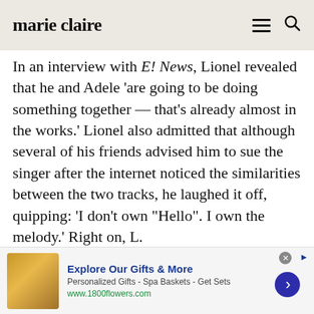marie claire
In an interview with E! News, Lionel revealed that he and Adele ‘are going to be doing something together — that’s already almost in the works.’ Lionel also admitted that although several of his friends advised him to sue the singer after the internet noticed the similarities between the two tracks, he laughed it off, quipping: ‘I don’t own “Hello”. I own the melody.’ Right on, L.
[Figure (screenshot): Advertisement banner for 1800flowers.com showing spa gifts with text 'Explore Our Gifts & More', 'Personalized Gifts - Spa Baskets - Get Sets', 'www.1800flowers.com']